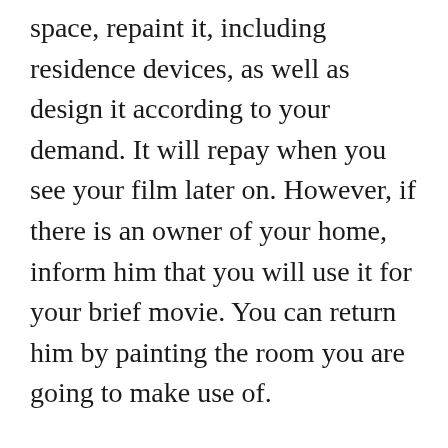space, repaint it, including residence devices, as well as design it according to your demand. It will repay when you see your film later on. However, if there is an owner of your home, inform him that you will use it for your brief movie. You can return him by painting the room you are going to make use of.
Fire throughout Events
Joyful periods are the most effective time to fire. The abundant lights reduce the price of shoot lights. Throughout Diwali, Halloween, or Xmas, the available lights in